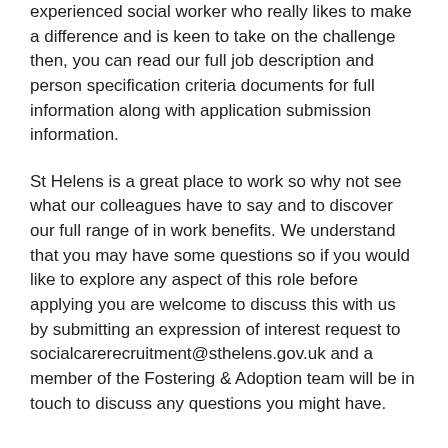experienced social worker who really likes to make a difference and is keen to take on the challenge then, you can read our full job description and person specification criteria documents for full information along with application submission information.
St Helens is a great place to work so why not see what our colleagues have to say and to discover our full range of in work benefits. We understand that you may have some questions so if you would like to explore any aspect of this role before applying you are welcome to discuss this with us by submitting an expression of interest request to socialcarerecruitment@sthelens.gov.uk and a member of the Fostering & Adoption team will be in touch to discuss any questions you might have.